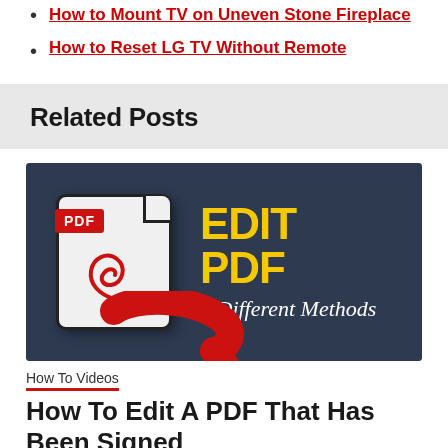How to Mount TV on Uneven Stone Fireplace
How to Reset LG TV Without Remote
Related Posts
[Figure (illustration): Promotional banner with dark navy background showing a PDF document icon with red PDF badge, large yellow bold text 'EDIT PDF', italic white text '4 Different Methods', and a large red arrow curving inward at the bottom]
How To Videos
How To Edit A PDF That Has Been Signed